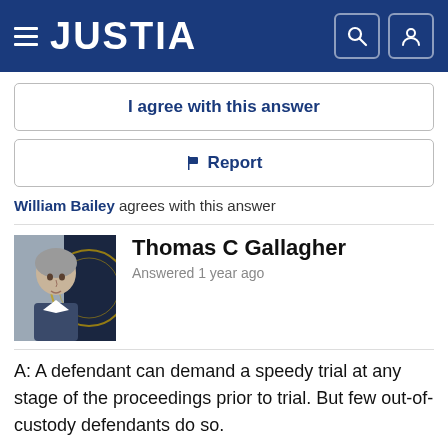JUSTIA
I agree with this answer
Report
William Bailey agrees with this answer
[Figure (photo): Headshot photo of Thomas C Gallagher, a middle-aged man with gray hair in front of a seal backdrop]
Thomas C Gallagher
Answered 1 year ago
A: A defendant can demand a speedy trial at any stage of the proceedings prior to trial. But few out-of-custody defendants do so.